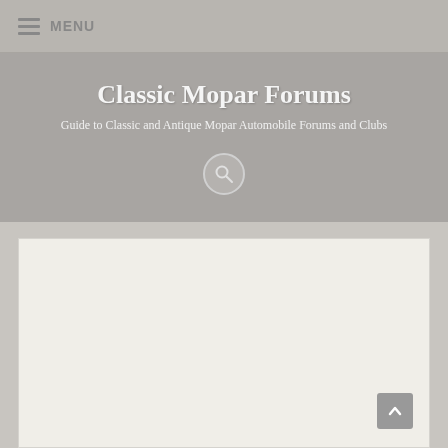MENU
Classic Mopar Forums
Guide to Classic and Antique Mopar Automobile Forums and Clubs
[Figure (screenshot): Website screenshot showing Classic Mopar Forums header with menu icon, site title, subtitle, search icon, and a large cream-colored content panel below]